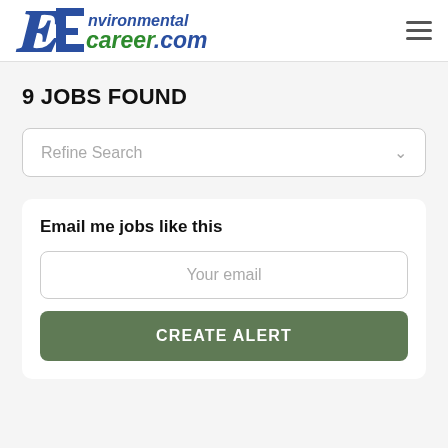[Figure (logo): EnvironmentalCareer.com logo with blue italic E and text]
9 JOBS FOUND
Refine Search
Email me jobs like this
Your email
CREATE ALERT